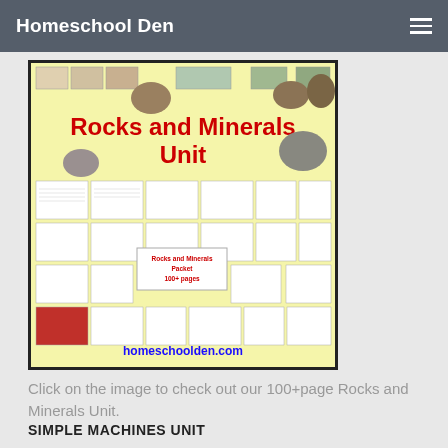Homeschool Den
[Figure (illustration): Rocks and Minerals Unit educational packet cover image showing worksheets and activities on a yellow background with the title 'Rocks and Minerals Unit' in red, and the URL homeschoolden.com at the bottom]
Click on the image to check out our 100+page Rocks and Minerals Unit.
SIMPLE MACHINES UNIT